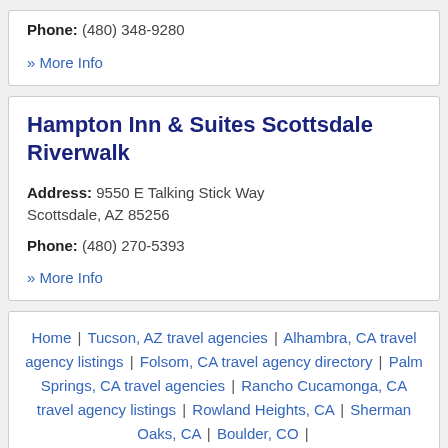Phone: (480) 348-9280
» More Info
Hampton Inn & Suites Scottsdale Riverwalk
Address: 9550 E Talking Stick Way Scottsdale, AZ 85256
Phone: (480) 270-5393
» More Info
Home | Tucson, AZ travel agencies | Alhambra, CA travel agency listings | Folsom, CA travel agency directory | Palm Springs, CA travel agencies | Rancho Cucamonga, CA travel agency listings | Rowland Heights, CA | Sherman Oaks, CA | Boulder, CO |